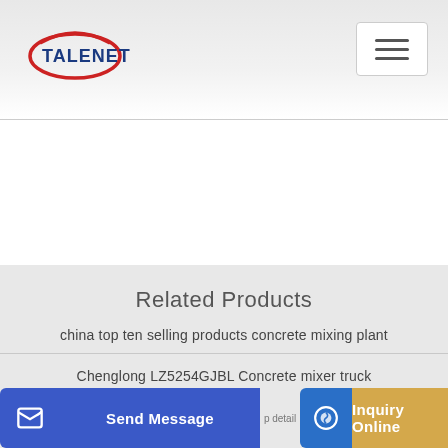TALENET
Related Products
china top ten selling products concrete mixing plant
Chenglong LZ5254GJBL Concrete mixer truck
Send Message | Inquiry Online